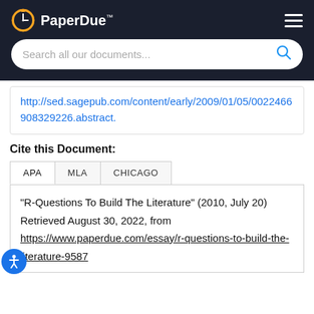[Figure (logo): PaperDue logo with clock icon and search bar on dark navy background]
http://sed.sagepub.com/content/early/2009/01/05/0022466908329226.abstract.
Cite this Document:
APA | MLA | CHICAGO (tabs)
"R-Questions To Build The Literature" (2010, July 20) Retrieved August 30, 2022, from https://www.paperdue.com/essay/r-questions-to-build-the-literature-9587